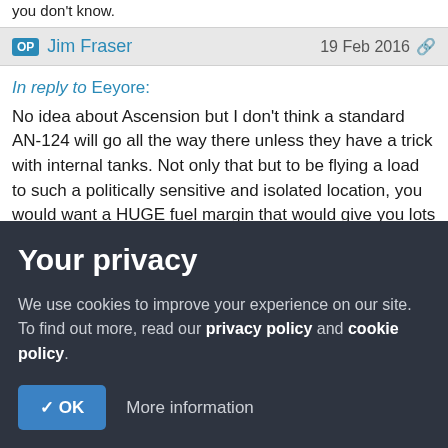you don't know.
OP Jim Fraser  19 Feb 2016
In reply to Eeyore:
No idea about Ascension but I don't think a standard AN-124 will go all the way there unless they have a trick with internal tanks. Not only that but to be flying a load to such a politically sensitive and isolated location, you would want a HUGE fuel margin that would give you lots of options. Your underwriters are going to be on the edge of their seats anyway.
Your privacy
We use cookies to improve your experience on our site. To find out more, read our privacy policy and cookie policy.
✓ OK    More information